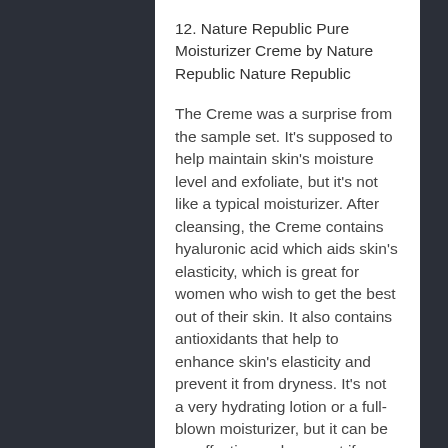12. Nature Republic Pure Moisturizer Creme by Nature Republic Nature Republic
The Creme was a surprise from the sample set. It's supposed to help maintain skin's moisture level and exfoliate, but it's not like a typical moisturizer. After cleansing, the Creme contains hyaluronic acid which aids skin's elasticity, which is great for women who wish to get the best out of their skin. It also contains antioxidants that help to enhance skin's elasticity and prevent it from dryness. It's not a very hydrating lotion or a full-blown moisturizer, but it can be an effective replacement if you don't have the time or patience to have a full and complete night cream.